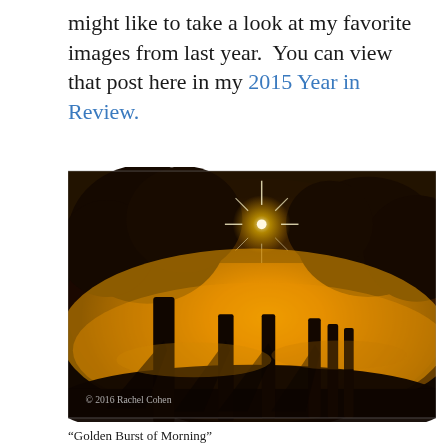might like to take a look at my favorite images from last year.  You can view that post here in my 2015 Year in Review.
[Figure (photo): A dramatic early fall morning landscape photograph showing silhouetted trees against a glowing golden fog. A starburst of light peeks through the tree canopy at upper center. The lower portion shows tree trunks with long shadows cast across a foggy field. A watermark reads '© 2016 Rachel Cohen' in the lower left corner.]
"Golden Burst of Morning"
An absolutely spectacular early fall morning with golden fog and